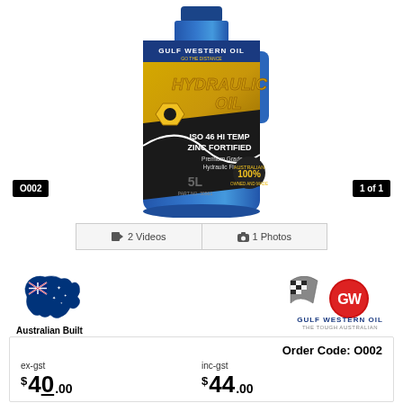[Figure (photo): Gulf Western Oil Hydraulic Oil ISO 46 Hi Temp Zinc Fortified 5L bottle in blue container with yellow label. Australian 100% owned and made badge. Part No. 30561.]
O002
1 of 1
2 Videos
1 Photos
[Figure (illustration): Australian map with flag overlay and text 'Australian Built' below]
[Figure (logo): Gulf Western Oil logo with checkered flag and text 'THE TOUGH AUSTRALIAN']
Order Code: O002
ex-gst
$ 40.00
inc-gst
$ 44.00